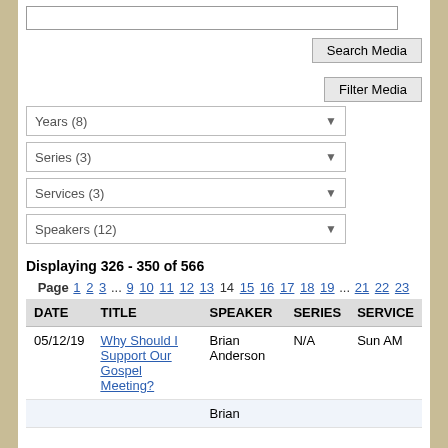[Figure (screenshot): Search input box (text field)]
[Figure (screenshot): Search Media button]
[Figure (screenshot): Filter Media button]
[Figure (screenshot): Years (8) dropdown]
[Figure (screenshot): Series (3) dropdown]
[Figure (screenshot): Services (3) dropdown]
[Figure (screenshot): Speakers (12) dropdown]
Displaying 326 - 350 of 566
Page 1 2 3 ... 9 10 11 12 13 14 15 16 17 18 19 ... 21 22 23
| DATE | TITLE | SPEAKER | SERIES | SERVICE |
| --- | --- | --- | --- | --- |
| 05/12/19 | Why Should I Support Our Gospel Meeting? | Brian Anderson | N/A | Sun AM |
|  | Brian |  |  |  |